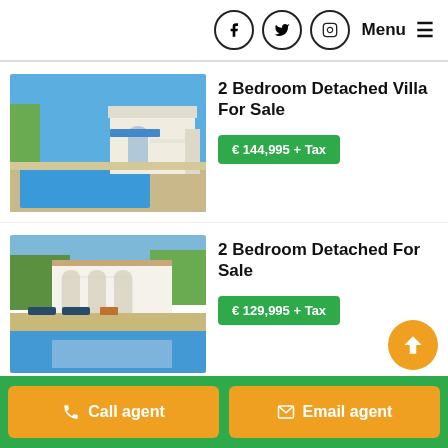Menu
2 Bedroom Detached Villa For Sale
€ 144,995 + Tax
[Figure (photo): Exterior photo of a white villa with arched entrance, blue awning, and private swimming pool in the foreground under a clear blue sky.]
2 Bedroom Detached For Sale
€ 129,995 + Tax
[Figure (photo): Exterior photo of a white Spanish villa with arched colonnade, sun loungers, and a large swimming pool reflecting the building.]
3 Bedroom Detached For Sale
[Figure (photo): Partial exterior photo of a detached property under blue sky, partially visible.]
Call agent
Email agent